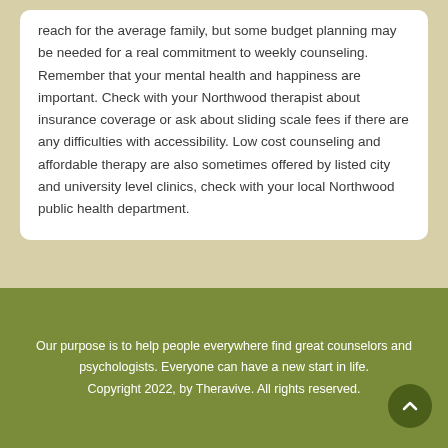reach for the average family, but some budget planning may be needed for a real commitment to weekly counseling. Remember that your mental health and happiness are important. Check with your Northwood therapist about insurance coverage or ask about sliding scale fees if there are any difficulties with accessibility. Low cost counseling and affordable therapy are also sometimes offered by listed city and university level clinics, check with your local Northwood public health department.
Our purpose is to help people everywhere find great counselors and psychologists. Everyone can have a new start in life.
Copyright 2022, by Theravive. All rights reserved.